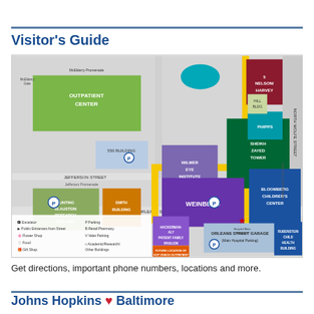Visitor's Guide
[Figure (map): Campus map of Johns Hopkins Hospital showing buildings including Outpatient Center, Weinberg, Bloomberg Children's Center, Wilmer Eye Institute, Sheikh Zayed Tower, Nelson/Harvey, Phipps, Bunting Blaustein Research Building, Smith Building, 550 Building, Hackerman-Aly Patient Family Pavilion, Rubenstein Child Health Building, Orleans Street Garage, and surrounding streets (Orleans Street, Jefferson Street, North Wolfe Street). Map shows parking, entrances, ATMs, pharmacy, shuttle loops, and a legend.]
Get directions, important phone numbers, locations and more.
Johns Hopkins ♥ Baltimore